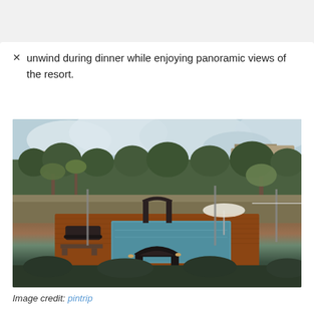unwind during dinner while enjoying panoramic views of the resort.
[Figure (photo): Aerial view of a resort pool area with wooden deck, lounge furniture, umbrellas, lush greenery, palm trees, and resort buildings in the background under a cloudy sky.]
Image credit: pintrip